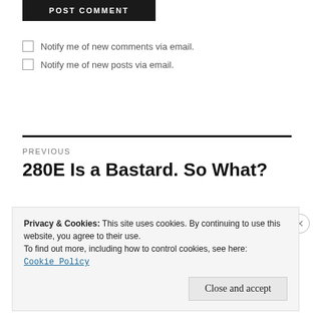POST COMMENT
Notify me of new comments via email.
Notify me of new posts via email.
PREVIOUS
280E Is a Bastard. So What?
Privacy & Cookies: This site uses cookies. By continuing to use this website, you agree to their use.
To find out more, including how to control cookies, see here:
Cookie Policy
Close and accept